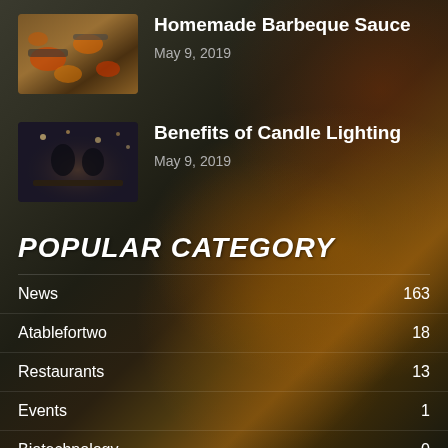[Figure (photo): Thumbnail photo of grilled vegetables and BBQ food on a dark pan]
Homemade Barbeque Sauce
May 9, 2019
[Figure (photo): Thumbnail photo of a couple at a candlelit dinner table]
Benefits of Candle Lighting
May 9, 2019
POPULAR CATEGORY
News  163
Atablefortwo  18
Restaurants  13
Events  1
Biotechnology  0
Artisans  0
Cheesecakes  0